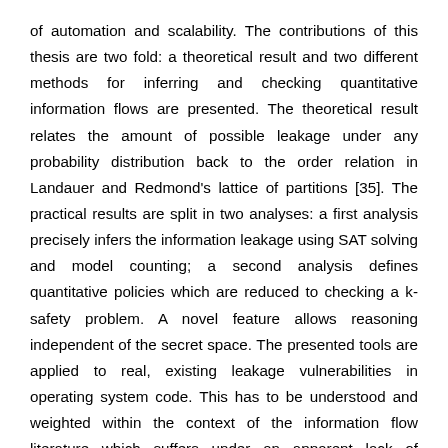of automation and scalability. The contributions of this thesis are two fold: a theoretical result and two different methods for inferring and checking quantitative information flows are presented. The theoretical result relates the amount of possible leakage under any probability distribution back to the order relation in Landauer and Redmond's lattice of partitions [35]. The practical results are split in two analyses: a first analysis precisely infers the information leakage using SAT solving and model counting; a second analysis defines quantitative policies which are reduced to checking a k-safety problem. A novel feature allows reasoning independent of the secret space. The presented tools are applied to real, existing leakage vulnerabilities in operating system code. This has to be understood and weighted within the context of the information flow literature which suffers under an apparent lack of practical examples and applications. This thesis studies such “real leaks” which could influence future strategies for finding information leaks.